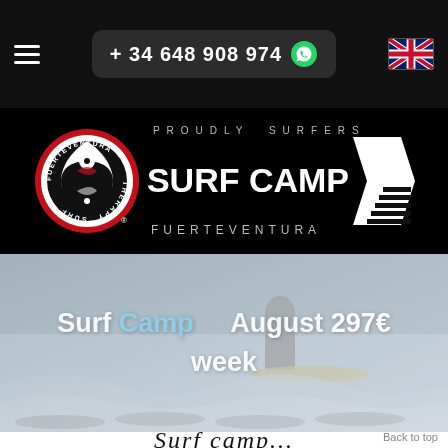+ 34 648 908 974
[Figure (logo): Surf Camp Fuerteventura logo: red circle with Surf Therapy yin-yang fish design, white text SURF CAMP FUERTEVENTURA with wing chevron, PROUDLY SURFERS tagline]
Surf Camp  August 297€ week
Back to top
Surf camp...